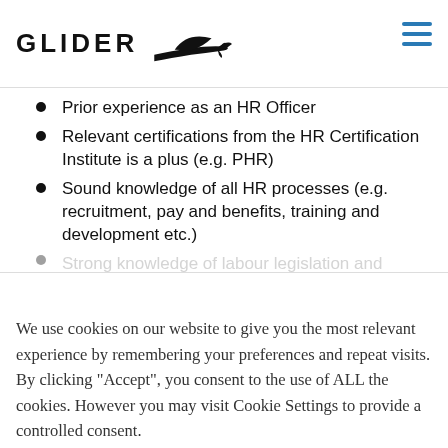GLIDER
Prior experience as an HR Officer
Relevant certifications from the HR Certification Institute is a plus (e.g. PHR)
Sound knowledge of all HR processes (e.g. recruitment, pay and benefits, training and development etc.)
We use cookies on our website to give you the most relevant experience by remembering your preferences and repeat visits. By clicking "Accept", you consent to the use of ALL the cookies. However you may visit Cookie Settings to provide a controlled consent.
Cookie settings
ACCEPT